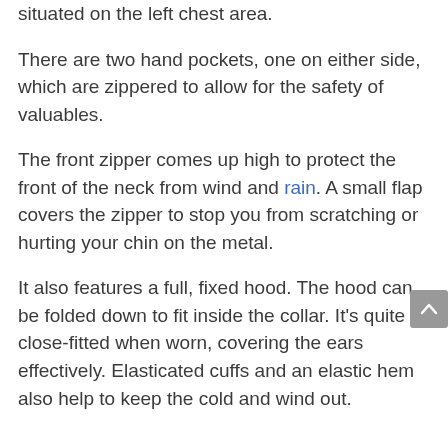situated on the left chest area.
There are two hand pockets, one on either side, which are zippered to allow for the safety of valuables.
The front zipper comes up high to protect the front of the neck from wind and rain. A small flap covers the zipper to stop you from scratching or hurting your chin on the metal.
It also features a full, fixed hood. The hood can be folded down to fit inside the collar. It’s quite close-fitted when worn, covering the ears effectively. Elasticated cuffs and an elastic hem also help to keep the cold and wind out.